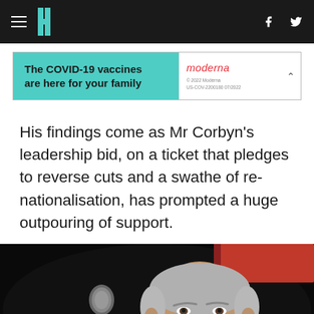HuffPost UK navigation bar with hamburger menu, logo, Facebook and Twitter icons
[Figure (infographic): Moderna COVID-19 vaccine advertisement banner: 'The COVID-19 vaccines are here for your family' on teal background, Moderna logo on white side, copyright 2022 Moderna US-COV-2200180 07/2022]
His findings come as Mr Corbyn's leadership bid, on a ticket that pledges to reverse cuts and a swathe of re-nationalisation, has prompted a huge outpouring of support.
[Figure (photo): Black and white photograph of Jeremy Corbyn standing at a microphone, hand raised to chin in a thoughtful pose, with a red banner visible in the background]